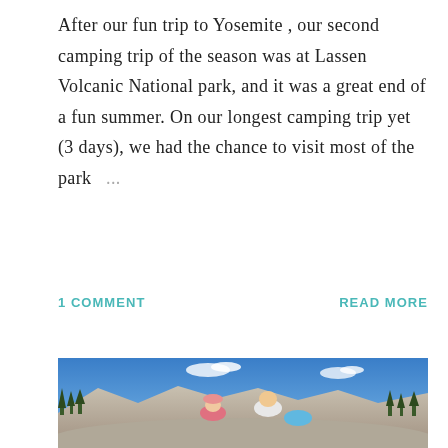After our fun trip to Yosemite , our second camping trip of the season was at Lassen Volcanic National park, and it was a great end of a fun summer. On our longest camping trip yet (3 days), we had the chance to visit most of the park ...
1 COMMENT
READ MORE
[Figure (photo): Two young children (a girl in a pink hat and red shirt, and a boy in a white shirt holding a blue hat) sitting on a rock with a mountain, trees, and blue sky in the background.]